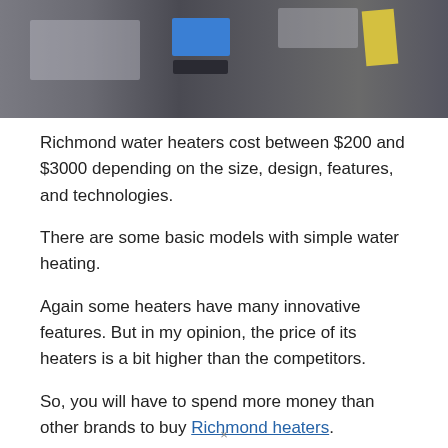[Figure (photo): Photograph of Richmond water heaters, showing a dark cylindrical tank with a blue LCD screen and control buttons, with a yellow tag visible on the right side.]
Richmond water heaters cost between $200 and $3000 depending on the size, design, features, and technologies.
There are some basic models with simple water heating.
Again some heaters have many innovative features. But in my opinion, the price of its heaters is a bit higher than the competitors.
So, you will have to spend more money than other brands to buy Richmond heaters.